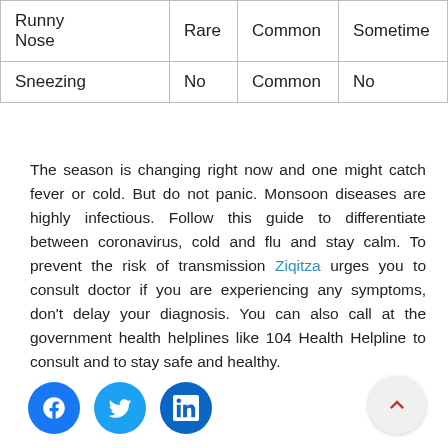|  | COVID-19 | Cold | Flu |
| --- | --- | --- | --- |
| Runny Nose | Rare | Common | Sometimes |
| Sneezing | No | Common | No |
The season is changing right now and one might catch fever or cold. But do not panic. Monsoon diseases are highly infectious. Follow this guide to differentiate between coronavirus, cold and flu and stay calm. To prevent the risk of transmission Ziqitza urges you to consult doctor if you are experiencing any symptoms, don't delay your diagnosis. You can also call at the government health helplines like 104 Health Helpline to consult and to stay safe and healthy.
[Figure (illustration): Social media share icons: Facebook (blue circle with f), Twitter (blue circle with bird), LinkedIn (dark blue circle with in); and a scroll-to-top button (light grey circle with red chevron up)]